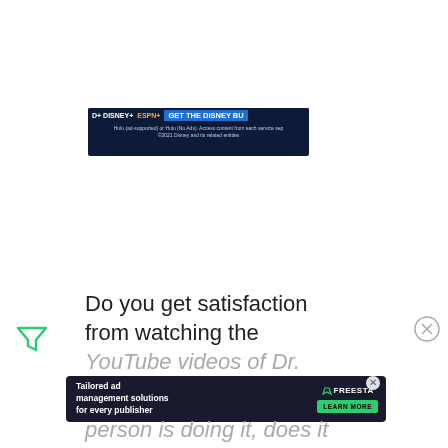[Figure (screenshot): Disney+ and ESPN+ bundle advertisement banner with dark navy background showing Disney+, ESPN+ logos and 'GET THE DISNEY BU[NDLE]' call to action text, with fine print about Hulu and ©2021 Disney]
Do you get satisfaction from watching the
YouTube videos of Dr.
[Figure (screenshot): Freestar ad: dark background with 'Tailored ad management solutions for every publisher' text on left, Freestar logo and 'LEARN MORE' green button on right, with decorative tech/digital illustration]
person is doing it, does it